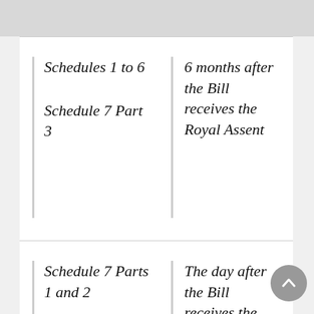| Provision | Commencement |
| --- | --- |
| Schedules 1 to 6

Schedule 7 Part 3 | 6 months after the Bill receives the Royal Assent |
| Schedule 7 Parts 1 and 2 | The day after the Bill receives the Royal Assent |